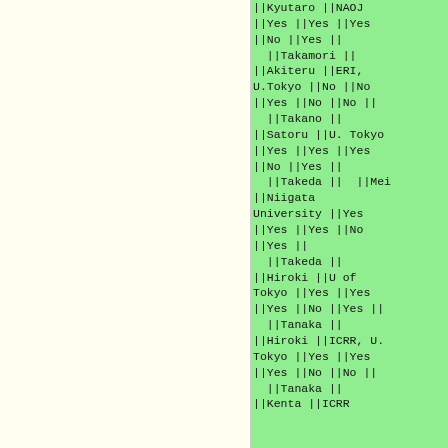| Last Name | First Name | Affiliation | Col1 | Col2 | Col3 | Col4 | Col5 |
| --- | --- | --- | --- | --- | --- | --- | --- |
| Kyutaro | NAOJ |  |  |  |  |  |  |
|  | Yes | Yes | Yes |  |  |  |  |
|  | No | Yes |  |  |  |  |  |
| Takamori |  |  |  |  |  |  |  |
| Akiteru | ERI, U.Tokyo | No | No |  |  |  |  |
|  | Yes | No | No |  |  |  |  |
| Takano |  |  |  |  |  |  |  |
| Satoru | U. Tokyo |  |  |  |  |  |  |
|  | Yes | Yes | Yes |  |  |  |  |
|  | No | Yes |  |  |  |  |  |
| Takeda |  | Mei |  |  |  |  |  |
| Niigata University | Yes |  |  |  |  |  |  |
|  | Yes | Yes | No |  |  |  |  |
|  | Yes |  |  |  |  |  |  |
| Takeda |  |  |  |  |  |  |  |
| Hiroki | U of Tokyo | Yes | Yes |  |  |  |  |
|  | Yes | No | Yes |  |  |  |  |
| Tanaka |  |  |  |  |  |  |  |
| Hiroki | ICRR, U. Tokyo | Yes | Yes |  |  |  |  |
|  | Yes | No | No |  |  |  |  |
| Tanaka |  |  |  |  |  |  |  |
| Kenta | ICRR |  |  |  |  |  |  |